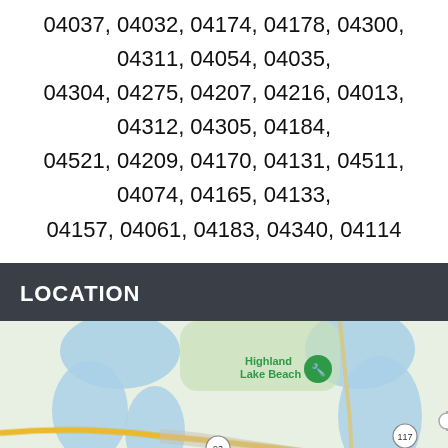04037, 04032, 04174, 04178, 04300, 04311, 04054, 04035, 04304, 04275, 04207, 04216, 04013, 04312, 04305, 04184, 04521, 04209, 04170, 04131, 04511, 04074, 04165, 04133, 04157, 04061, 04183, 04340, 04114
LOCATION
[Figure (map): Google Maps view centered on Bridgton, Maine showing Highland Lake Beach marker, roads including routes 93, 117, and 302, lakes and water bodies in blue, and surrounding green terrain.]